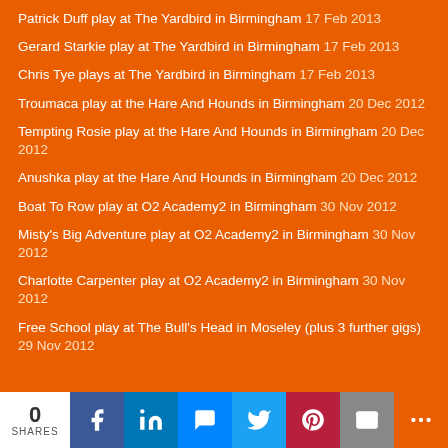Patrick Duff play at The Yardbird in Birmingham 17 Feb 2013
Gerard Starkie play at The Yardbird in Birmingham 17 Feb 2013
Chris Tye plays at The Yardbird in Birmingham 17 Feb 2013
Troumaca play at the Hare And Hounds in Birmingham 20 Dec 2012
Tempting Rosie play at the Hare And Hounds in Birmingham 20 Dec 2012
Anushka play at the Hare And Hounds in Birmingham 20 Dec 2012
Boat To Row play at O2 Academy2 in Birmingham 30 Nov 2012
Misty's Big Adventure play at O2 Academy2 in Birmingham 30 Nov 2012
Charlotte Carpenter play at O2 Academy2 in Birmingham 30 Nov 2012
Free School play at The Bull's Head in Moseley (plus 3 further gigs) 29 Nov 2012